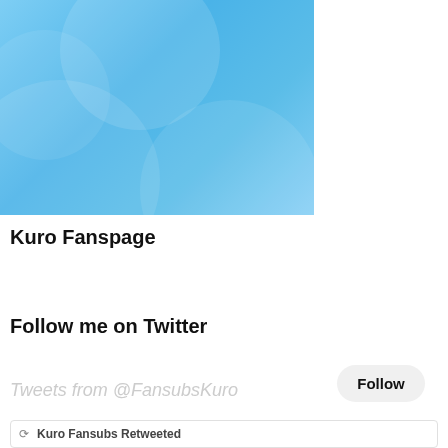[Figure (screenshot): Light blue Twitter/Facebook page banner with circular decorative elements and gradient background]
Kuro Fanspage
[Figure (infographic): Stats bar showing Pag. today: 8 and Pages: 220 592]
Follow me on Twitter
Tweets from @FansubsKuro
Follow
Kuro Fansubs Retweeted